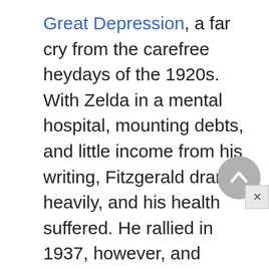Great Depression, a far cry from the carefree heydays of the 1920s. With Zelda in a mental hospital, mounting debts, and little income from his writing, Fitzgerald drank heavily, and his health suffered. He rallied in 1937, however, and returned to Hollywood (where he had worked briefly in 1927) to work on such screenplays as Gone with the Wind. A life of fast living with extreme highs and lows ended on December 21, 1940, when forty-four-year-old Fitzgerald died of a heart